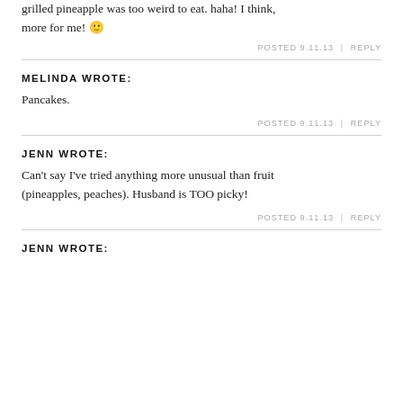grilled pineapple was too weird to eat. haha! I think, more for me! 🙂
POSTED 9.11.13  |  REPLY
MELINDA WROTE:
Pancakes.
POSTED 9.11.13  |  REPLY
JENN WROTE:
Can't say I've tried anything more unusual than fruit (pineapples, peaches). Husband is TOO picky!
POSTED 9.11.13  |  REPLY
JENN WROTE: